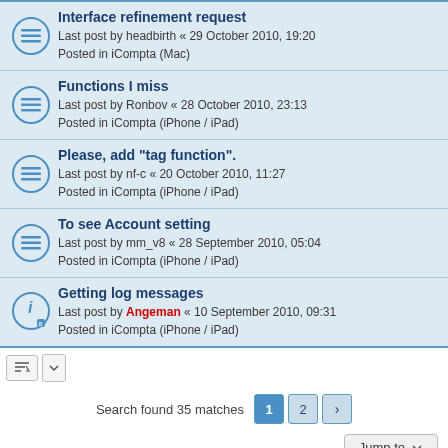Interface refinement request
Last post by headbirth « 29 October 2010, 19:20
Posted in iCompta (Mac)
Functions I miss
Last post by Ronbov « 28 October 2010, 23:13
Posted in iCompta (iPhone / iPad)
Please, add "tag function".
Last post by nf-c « 20 October 2010, 11:27
Posted in iCompta (iPhone / iPad)
To see Account setting
Last post by mm_v8 « 28 September 2010, 05:04
Posted in iCompta (iPhone / iPad)
Getting log messages
Last post by Angeman « 10 September 2010, 09:31
Posted in iCompta (iPhone / iPad)
Search found 35 matches  1  2  >
Jump to
Board index  Delete cookies  All times are UTC+02:00
Powered by phpBB® Forum Software © phpBB Limited
Privacy | Terms